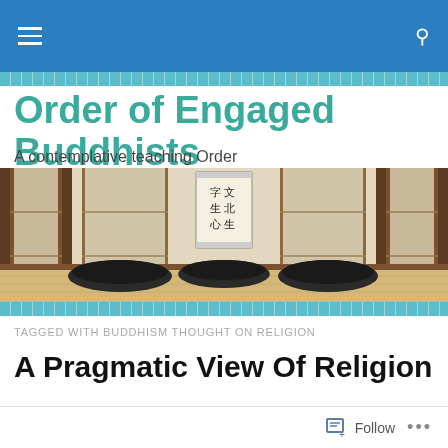Order of Engaged Buddhists — navigation bar
Order of Engaged Buddhists
A contemplative teaching Order
[Figure (photo): Interior of a traditional Japanese-style meditation room with sliding shoji doors, wooden beams, a calligraphy scroll on the wall, and several black meditation cushions (zafus) arranged on a light wooden floor.]
TAGGED WITH BUDDHISM THOUGHT ON RELIGION
A Pragmatic View Of Religion
Follow